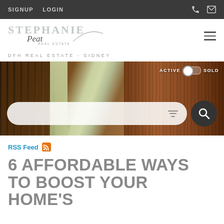SIGNUP  LOGIN
[Figure (logo): Stephanie Peat Real Estate logo with stylized script]
DFH REAL ESTATE - SIDNEY
[Figure (photo): Hero image showing wooden door and paneling background with ACTIVE/SOLD toggle and search bar]
RSS Feed
6 AFFORDABLE WAYS TO BOOST YOUR HOME'S